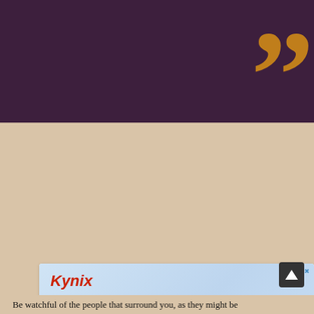[Figure (illustration): Dark purple banner background with large golden/amber closing quotation marks on the right side]
[Figure (other): Kynix advertisement banner featuring a Microchip brand integrated circuit chip (SST39B5010RD2) on a light blue background. Text reads: Over 1000+ Integrated circuit chip products are in stock and available now. Below: Integrated Circuits Supplier — Check Part Availability & Inventory from Kynix. Kynix | Get Quote >]
Be watchful of the people that surround you, as they might be